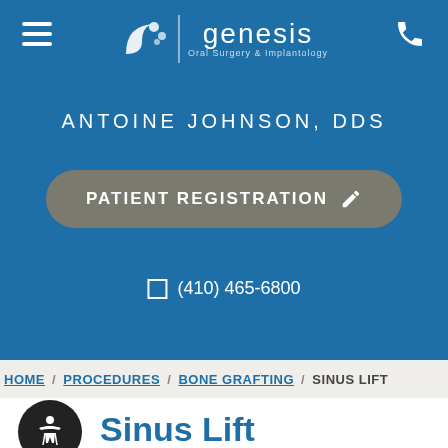[Figure (logo): Genesis Oral Surgery & Implantology logo with circular dot icons and vertical divider]
ANTOINE JOHNSON, DDS
PATIENT REGISTRATION
(410) 465-6800
HOME / PROCEDURES / BONE GRAFTING / SINUS LIFT
Sinus Lift